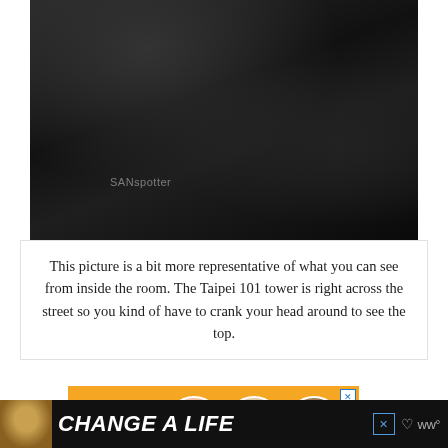[Figure (photo): Dark interior room photo with dim lighting, showing furniture silhouettes in low light. A watermark reading 'SANspotter' is visible in the lower left area of the image.]
This picture is a bit more representative of what you can see from inside the room. The Taipei 101 tower is right across the street so you kind of have to crank your head around to see the top.
[Figure (infographic): Advertisement banner: orange top section with large white '43' and three circular children's photos; green bottom section with large white text 'CHILDREN' and 'A Day Are Diagnosed' with text cut off at bottom. Close button (X) in top right.]
[Figure (infographic): Bottom advertisement bar: dark background with dog photo on left, white italic bold text 'CHANGE A LIFE' with a heart icon and close button (X), and a logo on the right.]